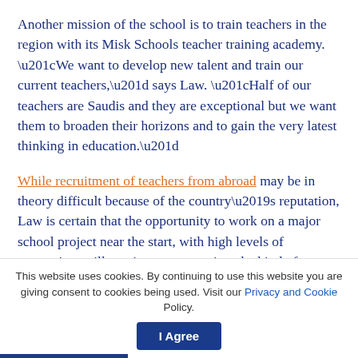Another mission of the school is to train teachers in the region with its Misk Schools teacher training academy. “We want to develop new talent and train our current teachers,” says Law. “Half of our teachers are Saudis and they are exceptional but we want them to broaden their horizons and to gain the very latest thinking in education.”
While recruitment of teachers from abroad may be in theory difficult because of the country’s reputation, Law is certain that the opportunity to work on a major school project near the start, with high levels of resourcing, will continue to attract just the kind of teachers he needs, working alongside his Saudi staff
This website uses cookies. By continuing to use this website you are giving consent to cookies being used. Visit our Privacy and Cookie Policy.